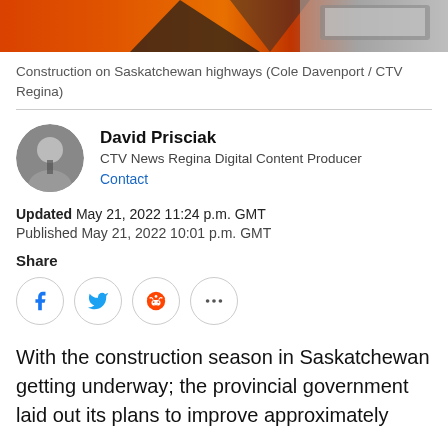[Figure (photo): Partial view of construction on Saskatchewan highways showing orange construction equipment and machinery, with a laptop visible on the right side]
Construction on Saskatchewan highways (Cole Davenport / CTV Regina)
David Prisciak
CTV News Regina Digital Content Producer
Contact
Updated May 21, 2022 11:24 p.m. GMT
Published May 21, 2022 10:01 p.m. GMT
Share
[Figure (infographic): Social media share buttons: Facebook, Twitter, Reddit, and more (ellipsis)]
With the construction season in Saskatchewan getting underway; the provincial government laid out its plans to improve approximately